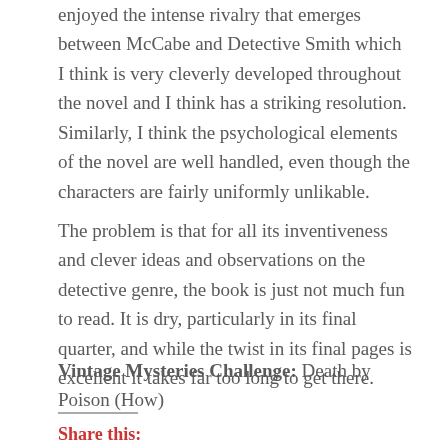enjoyed the intense rivalry that emerges between McCabe and Detective Smith which I think is very cleverly developed throughout the novel and I think has a striking resolution. Similarly, I think the psychological elements of the novel are well handled, even though the characters are fairly uniformly unlikable.
The problem is that for all its inventiveness and clever ideas and observations on the detective genre, the book is just not much fun to read. It is dry, particularly in its final quarter, and while the twist in its final pages is excellent it takes far too long to get there.
Vintage Mysteries Challenge: Death by Poison (How)
Share this: